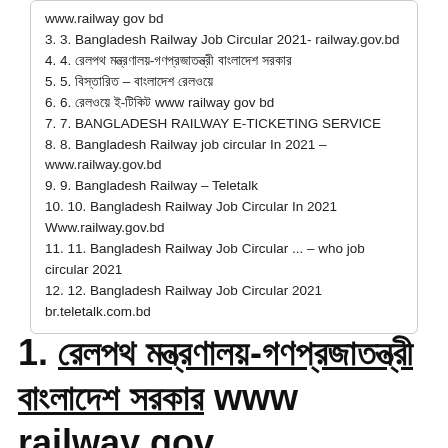www.railway gov bd
3. 3. Bangladesh Railway Job Circular 2021- railway.gov.bd
4. 4. রেলপথ মন্ত্রণালয়-গণপ্রজাতন্ত্রী বাংলাদেশ সরকার
5. 5. বিস্তারিত – বাংলাদেশ রেলওয়ে
6. 6. রেলওয়ে ই-টিকিট www railway gov bd
7. 7. BANGLADESH RAILWAY E-TICKETING SERVICE
8. 8. Bangladesh Railway job circular In 2021 – www.railway.gov.bd
9. 9. Bangladesh Railway – Teletalk
10. 10. Bangladesh Railway Job Circular In 2021 Www.railway.gov.bd
11. 11. Bangladesh Railway Job Circular ... – who job circular 2021
12. 12. Bangladesh Railway Job Circular 2021 br.teletalk.com.bd
1. রেলপথ মন্ত্রণালয়-গণপ্রজাতন্ত্রী বাংলাদেশ সরকার www railway gov